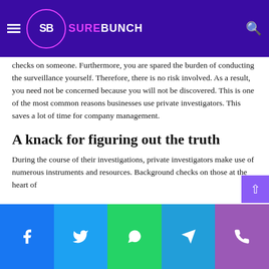SUREBUNCH
because they are able to carry out their investigations while keeping their clients privacy. It's possible to enquire services if you wish to do background checks on someone. Furthermore, you are spared the burden of conducting the surveillance yourself. Therefore, there is no risk involved. As a result, you need not be concerned because you will not be discovered. This is one of the most common reasons businesses use private investigators. This saves a lot of time for company management.
A knack for figuring out the truth
During the course of their investigations, private investigators make use of numerous instruments and resources. Background checks on those at the heart of
Facebook Twitter WhatsApp Telegram Phone